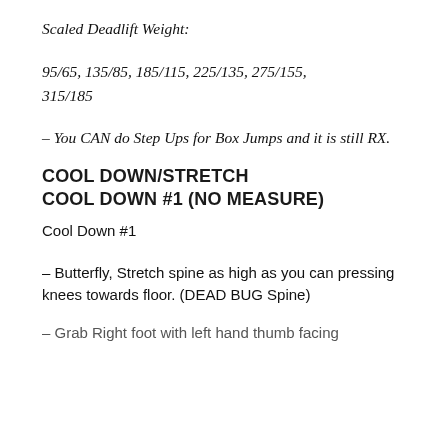Scaled Deadlift Weight:
95/65, 135/85, 185/115, 225/135, 275/155, 315/185
– You CAN do Step Ups for Box Jumps and it is still RX.
COOL DOWN/STRETCH
COOL DOWN #1 (NO MEASURE)
Cool Down #1
– Butterfly, Stretch spine as high as you can pressing knees towards floor. (DEAD BUG Spine)
– Grab Right foot with left hand thumb facing